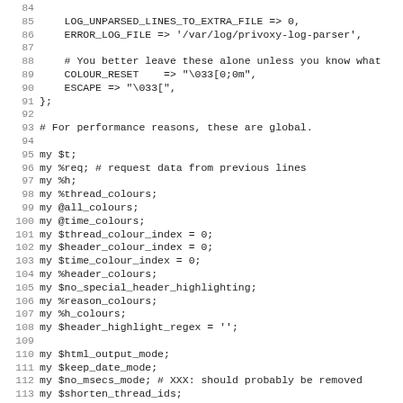Code listing lines 84-115, Perl source code for privoxy-log-parser configuration and variable declarations.